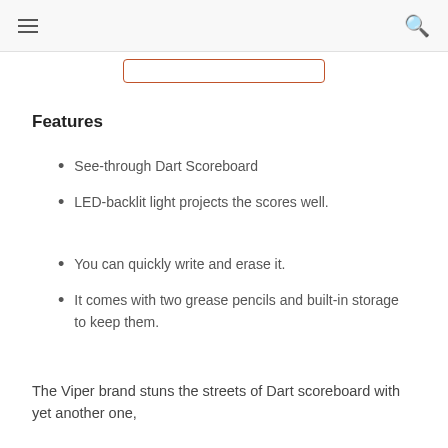≡  🔍
[Figure (other): Partial view of a button with orange/rust-colored outline border, cropped at the top of the content area]
Features
See-through Dart Scoreboard
LED-backlit light projects the scores well.
You can quickly write and erase it.
It comes with two grease pencils and built-in storage to keep them.
The Viper brand stuns the streets of Dart scoreboard with yet another one,